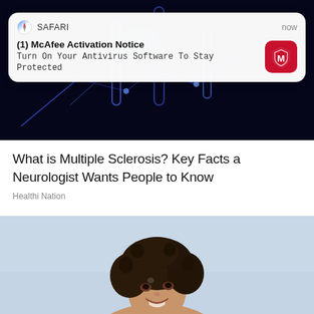[Figure (photo): Dark blue glowing neural/electrical circuit image at top of page]
[Figure (screenshot): iOS Safari browser notification popup overlay: '(1) McAfee Activation Notice - Turn On Your Antivirus Software To Stay Protected' with McAfee red icon]
What is Multiple Sclerosis? Key Facts a Neurologist Wants People to Know
Healthi Nation
[Figure (photo): Photo of a smiling woman with curly hair looking upward against a light sky background]